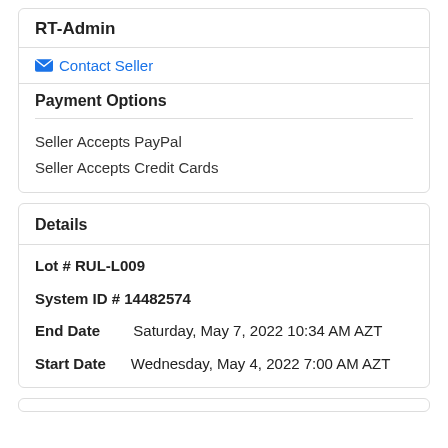RT-Admin
Contact Seller
Payment Options
Seller Accepts PayPal
Seller Accepts Credit Cards
Details
Lot # RUL-L009
System ID # 14482574
End Date    Saturday, May 7, 2022 10:34 AM AZT
Start Date    Wednesday, May 4, 2022 7:00 AM AZT